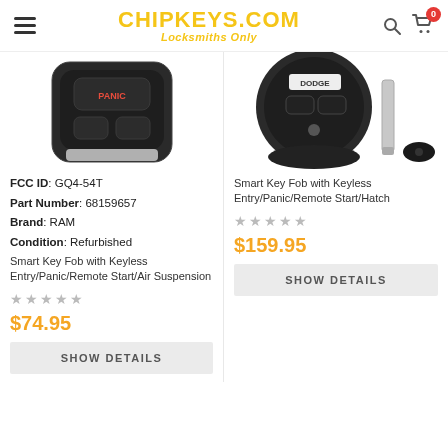CHIPKEYS.COM Locksmiths Only
[Figure (photo): Product image of a black car key fob with PANIC button and silver bottom, partially shown from top]
[Figure (photo): Product image of a black Dodge smart key fob with separated key blade and back cover]
FCC ID: GQ4-54T
Part Number: 68159657
Brand: RAM
Condition: Refurbished
Smart Key Fob with Keyless Entry/Panic/Remote Start/Air Suspension
Smart Key Fob with Keyless Entry/Panic/Remote Start/Hatch
★★★★★ (empty stars)
★★★★★ (empty stars)
$74.95
$159.95
SHOW DETAILS
SHOW DETAILS